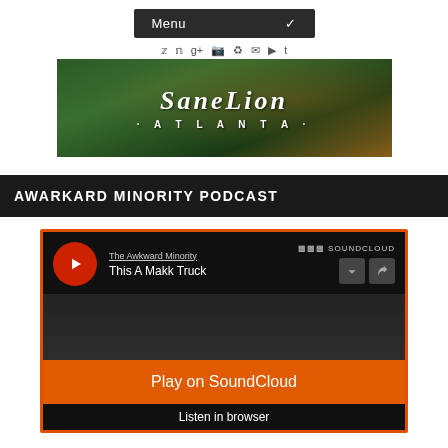Menu
[Figure (screenshot): SaneLion Atlanta banner — dark green foliage background with cursive 'SaneLion' text and 'ATLANTA' in spaced caps below]
AWARKARD MINORITY PODCAST
[Figure (screenshot): SoundCloud embedded player widget for 'This A Makk Truck' by The Awkward Minority, showing a play button, track info, SoundCloud logo, download/share buttons, artwork background, orange 'Play on SoundCloud' button, and 'Listen in browser' text]